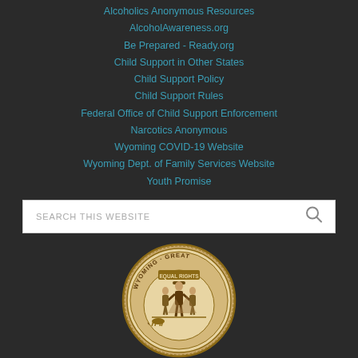Alcoholics Anonymous Resources
AlcoholAwareness.org
Be Prepared - Ready.org
Child Support in Other States
Child Support Policy
Child Support Rules
Federal Office of Child Support Enforcement
Narcotics Anonymous
Wyoming COVID-19 Website
Wyoming Dept. of Family Services Website
Youth Promise
[Figure (screenshot): Search box with placeholder text SEARCH THIS WEBSITE and a magnifying glass icon]
[Figure (logo): Wyoming Great Seal - circular seal with Equal Rights text and state imagery in brown/tan colors]